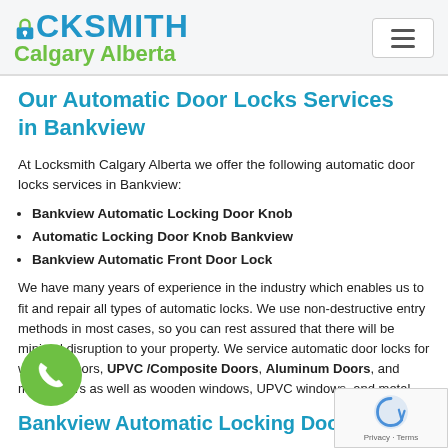LOCKSMITH Calgary Alberta
Our Automatic Door Locks Services in Bankview
At Locksmith Calgary Alberta we offer the following automatic door locks services in Bankview:
Bankview Automatic Locking Door Knob
Automatic Locking Door Knob Bankview
Bankview Automatic Front Door Lock
We have many years of experience in the industry which enables us to fit and repair all types of automatic locks. We use non-destructive entry methods in most cases, so you can rest assured that there will be minimal disruption to your property. We service automatic door locks for wooden doors, UPVC /Composite Doors, Aluminum Doors, and metal doors as well as wooden windows, UPVC windows, and metal
Bankview Automatic Locking Door Knob